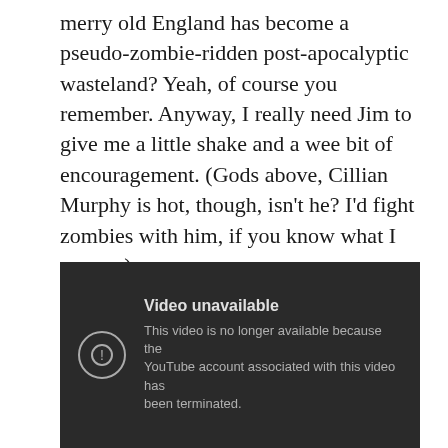merry old England has become a pseudo-zombie-ridden post-apocalyptic wasteland? Yeah, of course you remember. Anyway, I really need Jim to give me a little shake and a wee bit of encouragement. (Gods above, Cillian Murphy is hot, though, isn't he? I'd fight zombies with him, if you know what I mean...)

Here's some Eugene to keep our chins up:
[Figure (screenshot): Embedded video player showing 'Video unavailable' error message: 'This video is no longer available because the YouTube account associated with this video has been terminated.']